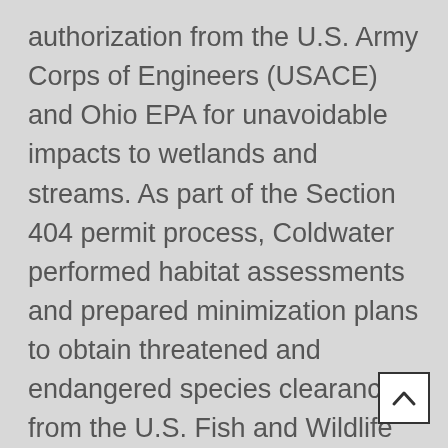authorization from the U.S. Army Corps of Engineers (USACE) and Ohio EPA for unavoidable impacts to wetlands and streams. As part of the Section 404 permit process, Coldwater performed habitat assessments and prepared minimization plans to obtain threatened and endangered species clearances from the U.S. Fish and Wildlife Service, coordinated a cultural resources survey, and assisted with an in-depth alternatives analysis. Coldwater worked closely with T&M and Preble County during the design phase to minimize wetland and stream impacts to the maximum extent practicable, then evaluated mitigation options for unavoidable impacts, and assisted